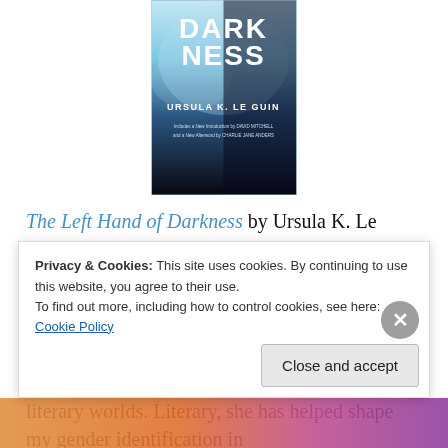[Figure (photo): Book cover of 'The Left Hand of Darkness' by Ursula K. Le Guin, showing a blue/teal icy sci-fi cover with the title text 'DARKNESS' and author name 'URSULA K. LE GUIN', with notes about a new introduction by David Mitchell and a new afterword by Charlie Jane Anders.]
The Left Hand of Darkness by Ursula K. Le Guin: this book was assigned reading during a Cold War history class in college (gotta love those liberal arts schools), and it's held a special place in my heart ever since. Left Hand was my introduction to Le Guin's writing, and through her I have discovered so many new literal and literary worlds. Literary, she has helped shape my gender identification in
Privacy & Cookies: This site uses cookies. By continuing to use this website, you agree to their use.
To find out more, including how to control cookies, see here: Cookie Policy
Close and accept